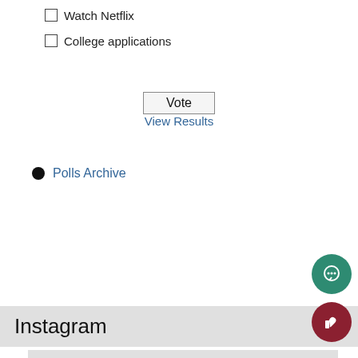Watch Netflix
College applications
Vote
View Results
Polls Archive
Instagram
[Figure (other): Instagram embedded image placeholder (gray rectangle)]